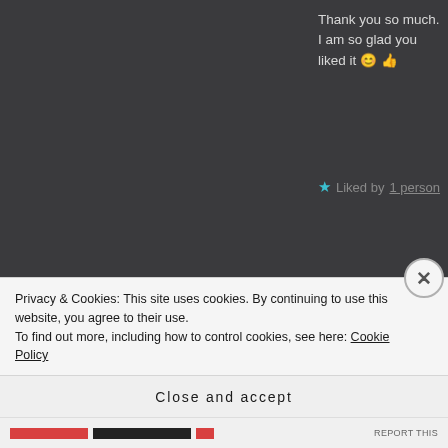Thank you so much. I am so glad you liked it 😊 👍
★ Liked by 1 person
[Figure (illustration): Blue and white geometric diamond pattern avatar for user Lynne Hoareau]
LYNNE HOAREAU says:  ↩ Reply
March 12, 2016 at 5:44 pm
This is really gorgeous, and so unique : -) I would probably have to have two shot glasses of this 🙂
Privacy & Cookies: This site uses cookies. By continuing to use this website, you agree to their use.
To find out more, including how to control cookies, see here: Cookie Policy
Close and accept